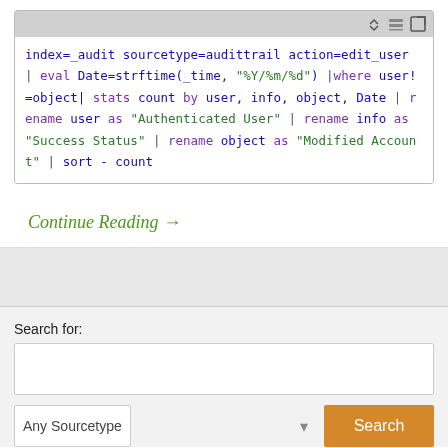[Figure (screenshot): Code editor/terminal box showing a Splunk search query with syntax highlighting in blue, purple, and green monospace text]
Continue Reading →
Search for: